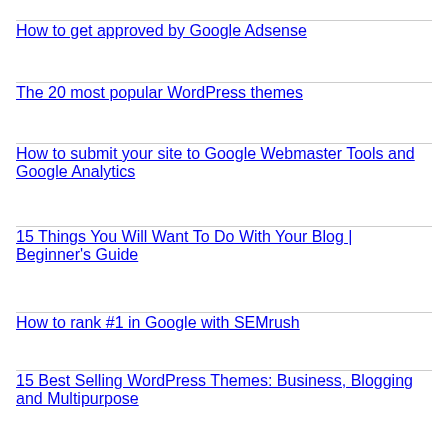How to get approved by Google Adsense
The 20 most popular WordPress themes
How to submit your site to Google Webmaster Tools and Google Analytics
15 Things You Will Want To Do With Your Blog | Beginner's Guide
How to rank #1 in Google with SEMrush
15 Best Selling WordPress Themes: Business, Blogging and Multipurpose